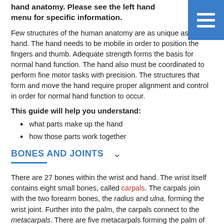hand anatomy. Please see the left hand menu for specific information.
Few structures of the human anatomy are as unique as the hand. The hand needs to be mobile in order to position the fingers and thumb. Adequate strength forms the basis for normal hand function. The hand also must be coordinated to perform fine motor tasks with precision. The structures that form and move the hand require proper alignment and control in order for normal hand function to occur.
This guide will help you understand:
what parts make up the hand
how those parts work together
BONES AND JOINTS
There are 27 bones within the wrist and hand. The wrist itself contains eight small bones, called carpals. The carpals join with the two forearm bones, the radius and ulna, forming the wrist joint. Further into the palm, the carpals connect to the metacarpals. There are five metacarpals forming the palm of the hand. One metacarpal connects to each finger and thumb